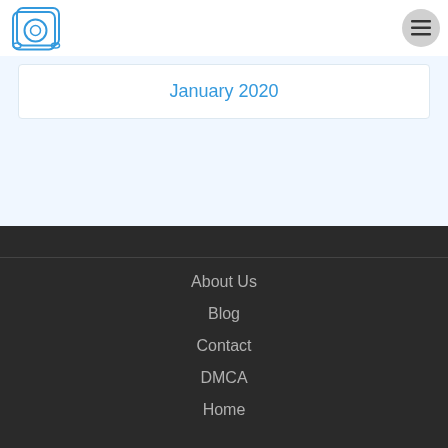Logo and navigation menu
January 2020
About Us
Blog
Contact
DMCA
Home